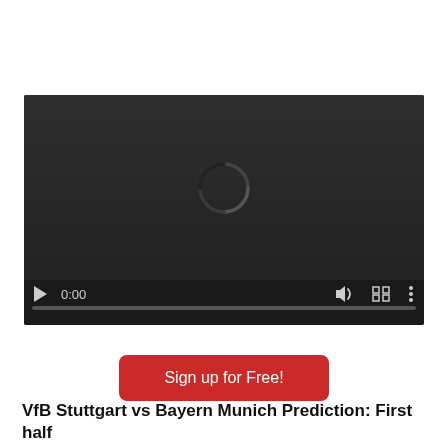[Figure (screenshot): Video player with dark background showing a loading spinner, playback controls at bottom including play button, time display '0:00', volume icon, fullscreen icon, and more options icon, with a progress bar]
Sign up for Free!
VfB Stuttgart vs Bayern Munich Prediction: First half